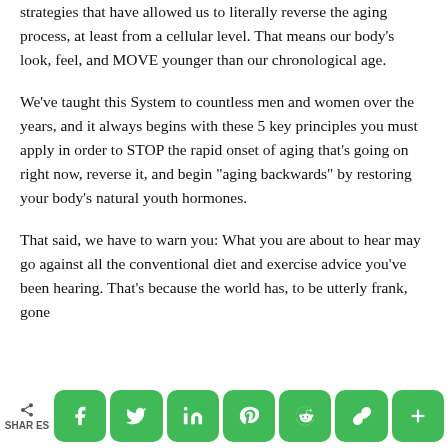strategies that have allowed us to literally reverse the aging process, at least from a cellular level. That means our body's look, feel, and MOVE younger than our chronological age.
We've taught this System to countless men and women over the years, and it always begins with these 5 key principles you must apply in order to STOP the rapid onset of aging that's going on right now, reverse it, and begin "aging backwards" by restoring your body's natural youth hormones.
That said, we have to warn you: What you are about to hear may go against all the conventional diet and exercise advice you've been hearing. That's because the world has, to be utterly frank, gone
SHARES  [social share buttons: Facebook, Twitter, LinkedIn, Pinterest, Reddit, Link, Plus]